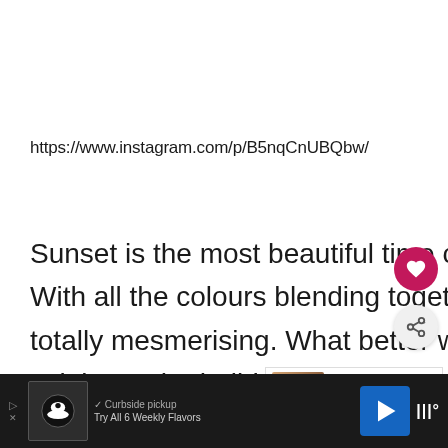https://www.instagram.com/p/B5nqCnUBQbw/
Sunset is the most beautiful time of the day. With all the colours blending together it is totally mesmerising. What better way to celebrate the holidays than wearing sunset colours on your eyes, no one will be
[Figure (screenshot): Advertisement bar at bottom: dark background with chef icon, curbside pickup text, navigation arrow button, and temperature icons]
[Figure (screenshot): Heart (like) button - pink circle icon on right side]
[Figure (screenshot): Share button - light circle with share icon on right side]
[Figure (screenshot): What's Next panel showing makeup products with text 'The Best Drugstore...']